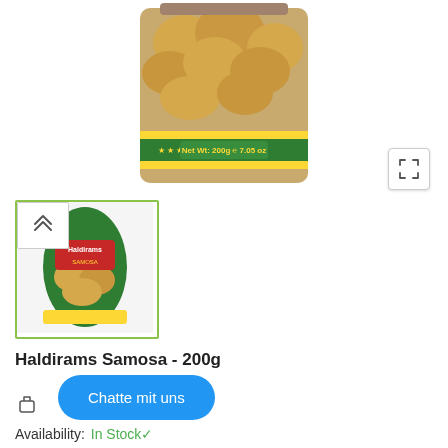[Figure (photo): Close-up of Haldirams Samosa package top, showing samosas inside and green label with 'Net Wt: 200g 7.05 oz']
[Figure (photo): Thumbnail of Haldirams Samosa 200g green standing pouch package with yellow samosas visible]
Haldirams Samosa - 200g
Chatte mit uns
Availability:  In Stock✓